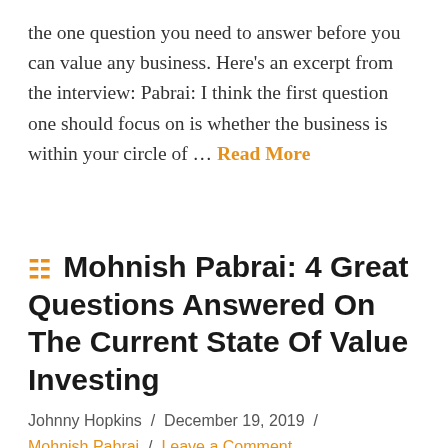the one question you need to answer before you can value any business. Here's an excerpt from the interview: Pabrai: I think the first question one should focus on is whether the business is within your circle of … Read More
Mohnish Pabrai: 4 Great Questions Answered On The Current State Of Value Investing
Johnny Hopkins / December 19, 2019 / Mohnish Pabrai / Leave a Comment